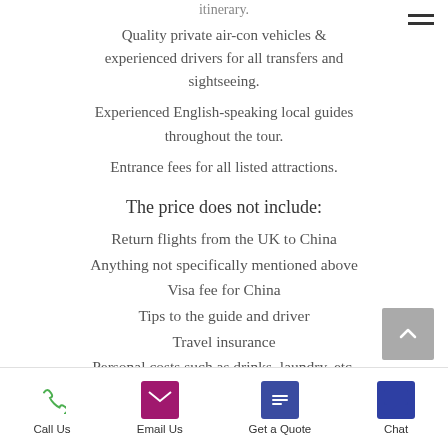itinerary.
Quality private air-con vehicles & experienced drivers for all transfers and sightseeing.
Experienced English-speaking local guides throughout the tour.
Entrance fees for all listed attractions.
The price does not include:
Return flights from the UK to China
Anything not specifically mentioned above
Visa fee for China
Tips to the guide and driver
Travel insurance
Personal costs such as drinks, laundry, etc.
Call Us | Email Us | Get a Quote | Chat